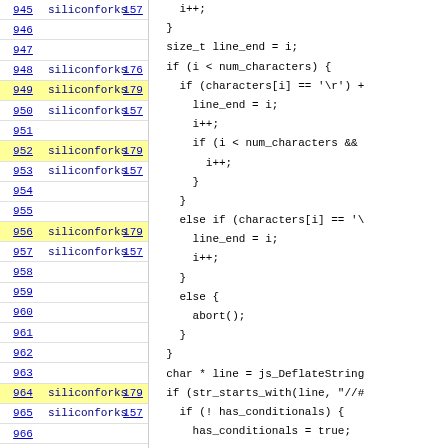| Line | Author | Rev |
| --- | --- | --- |
| 945 | siliconforks | 157 |
| 946 |  |  |
| 947 |  |  |
| 948 | siliconforks | 176 |
| 949 | siliconforks | 179 |
| 950 | siliconforks | 157 |
| 951 |  |  |
| 952 | siliconforks | 179 |
| 953 | siliconforks | 157 |
| 954 |  |  |
| 955 |  |  |
| 956 | siliconforks | 179 |
| 957 | siliconforks | 157 |
| 958 |  |  |
| 959 |  |  |
| 960 |  |  |
| 961 |  |  |
| 962 |  |  |
| 963 |  |  |
| 964 | siliconforks | 179 |
| 965 | siliconforks | 157 |
| 966 |  |  |
| 967 |  |  |
i++;
}
size_t line_end = i;
if (i < num_characters) {
  if (characters[i] == '\r') +
    line_end = i;
    i++;
    if (i < num_characters &&
      i++;
    }
  }
  else if (characters[i] == '\
    line_end = i;
    i++;
  }
  else {
    abort();
  }
}
char * line = js_DeflateString
if (str_starts_with(line, "//#
  if (! has_conditionals) {
    has_conditionals = true;